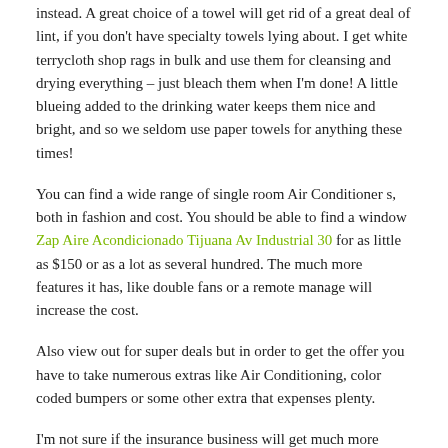instead. A great choice of a towel will get rid of a great deal of lint, if you don't have specialty towels lying about. I get white terrycloth shop rags in bulk and use them for cleansing and drying everything – just bleach them when I'm done! A little blueing added to the drinking water keeps them nice and bright, and so we seldom use paper towels for anything these times!
You can find a wide range of single room Air Conditioner s, both in fashion and cost. You should be able to find a window Zap Aire Acondicionado Tijuana Av Industrial 30 for as little as $150 or as a lot as several hundred. The much more features it has, like double fans or a remote manage will increase the cost.
Also view out for super deals but in order to get the offer you have to take numerous extras like Air Conditioning, color coded bumpers or some other extra that expenses plenty.
I'm not sure if the insurance business will get much more statements for journey associated harm to the awning or storm